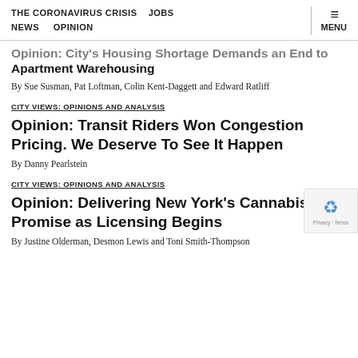THE CORONAVIRUS CRISIS   JOBS   NEWS   OPINION   MENU
Opinion: City's Housing Shortage Demands an End to Apartment Warehousing
By Sue Susman, Pat Loftman, Colin Kent-Daggett and Edward Ratliff
CITY VIEWS: OPINIONS AND ANALYSIS
Opinion: Transit Riders Won Congestion Pricing. We Deserve To See It Happen
By Danny Pearlstein
CITY VIEWS: OPINIONS AND ANALYSIS
Opinion: Delivering New York's Cannabis Promise as Licensing Begins
By Justine Olderman, Desmon Lewis and Toni Smith-Thompson